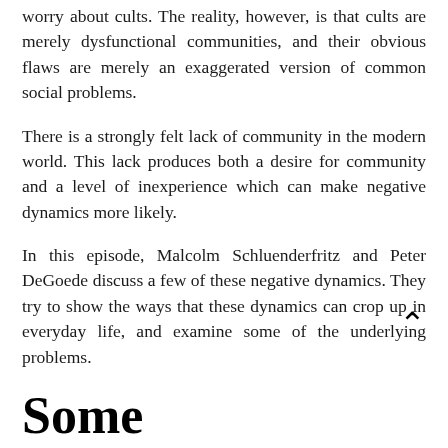worry about cults. The reality, however, is that cults are merely dysfunctional communities, and their obvious flaws are merely an exaggerated version of common social problems.
There is a strongly felt lack of community in the modern world. This lack produces both a desire for community and a level of inexperience which can make negative dynamics more likely.
In this episode, Malcolm Schluenderfritz and Peter DeGoede discuss a few of these negative dynamics. They try to show the ways that these dynamics can crop up in everyday life, and examine some of the underlying problems.
Some Problematic attitudes